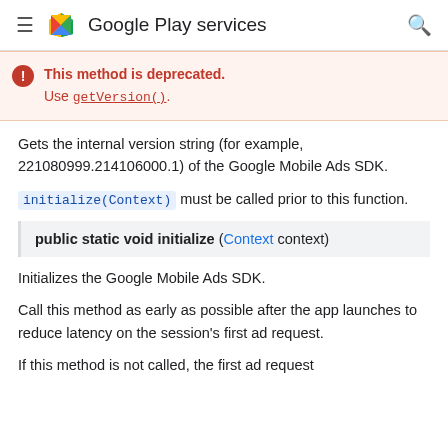Google Play services
This method is deprecated. Use getVersion().
Gets the internal version string (for example, 221080999.214106000.1) of the Google Mobile Ads SDK.
initialize(Context) must be called prior to this function.
public static void initialize (Context context)
Initializes the Google Mobile Ads SDK.
Call this method as early as possible after the app launches to reduce latency on the session's first ad request.
If this method is not called, the first ad request